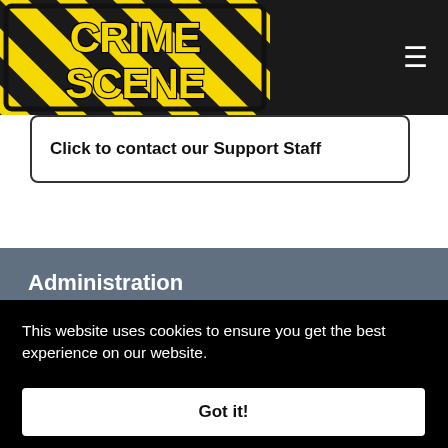[Figure (logo): Crime Scene logo with yellow and black hazard stripe background and bold yellow text reading CRIME SCENE]
Click to contact our Support Staff
Administration
Join the Crime Scene team
Privacy Policy
Terms of Service
Cookie Policy
This website uses cookies to ensure you get the best experience on our website.
Got it!